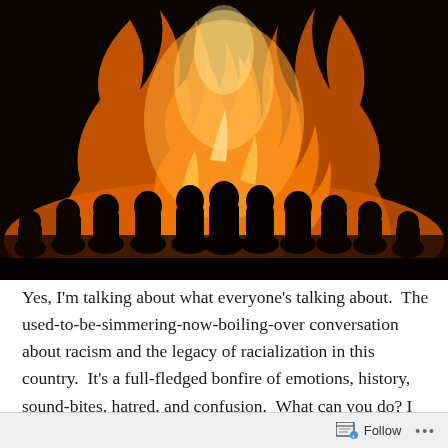[Figure (photo): A large bonfire with tall orange and yellow flames illuminating silhouettes of people standing in a crowd in the foreground.]
Yes, I'm talking about what everyone's talking about. The used-to-be-simmering-now-boiling-over conversation about racism and the legacy of racialization in this country. It's a full-fledged bonfire of emotions, history, sound-bites, hatred, and confusion. What can you do? I humbly offer the following suggestions as a way to stop pouring more gas on the fire, and a roadmap toward a
Follow ···